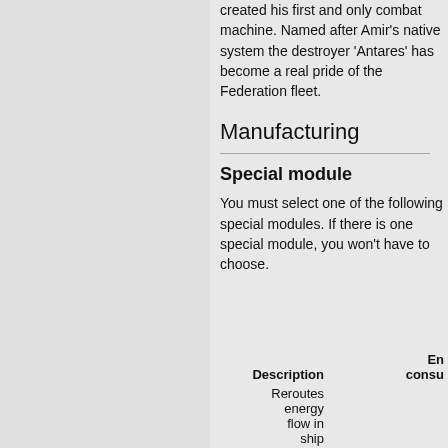created his first and only combat machine. Named after Amir's native system the destroyer 'Antares' has become a real pride of the Federation fleet.
Manufacturing
Special module
You must select one of the following special modules. If there is one special module, you won't have to choose.
| Description | En consu |
| --- | --- |
| Reroutes energy flow in ship |  |